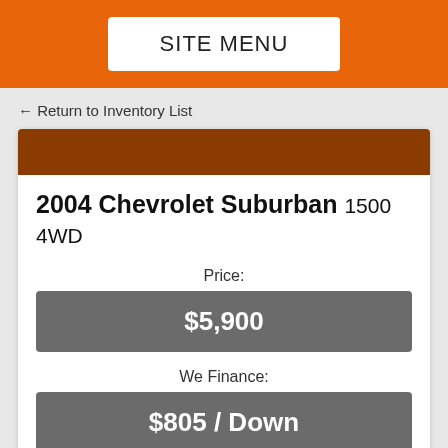SITE MENU
← Return to Inventory List
2004 Chevrolet Suburban 1500 4WD
Price:
$5,900
We Finance:
$805 / Down